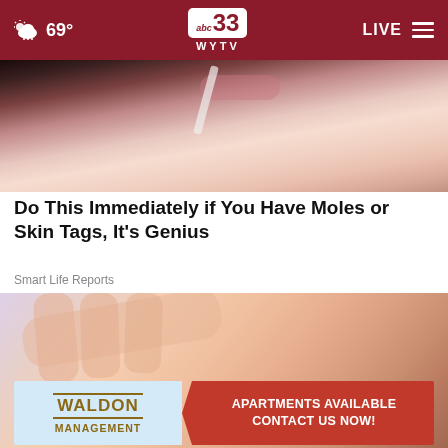abc 33 WYTV — 69° — LIVE
[Figure (photo): Close-up of a woman holding a nail file near her face, with dark hair visible]
Do This Immediately if You Have Moles or Skin Tags, It's Genius
Smart Life Reports
[Figure (photo): Close-up of a person's shoulder/skin area showing a mole, with a hand visible, and an X close button overlay]
[Figure (infographic): Advertisement banner for Waldon Management: APARTMENTS AVAILABLE CONTACT US NOW!]